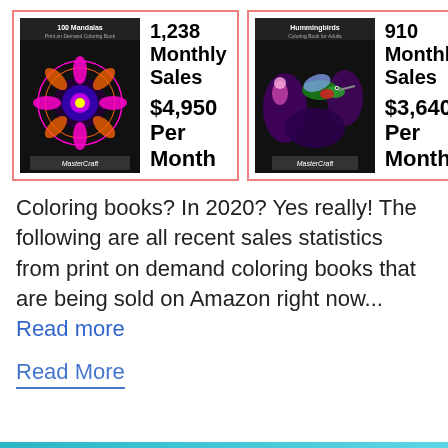[Figure (infographic): Two side-by-side promotional ad boxes for coloring books on Amazon. Left box: '100 Mandalas' book cover with '1,238 Monthly Sales' and '$4,950 Per Month'. Right box: 'Hummingbirds' book cover with '910 Monthly Sales' and '$3,640 Per Month'. Both boxes have pink/red borders.]
Coloring books? In 2020? Yes really! The following are all recent sales statistics from print on demand coloring books that are being sold on Amazon right now... Read more
Read More
The Best Free Marketing Resources